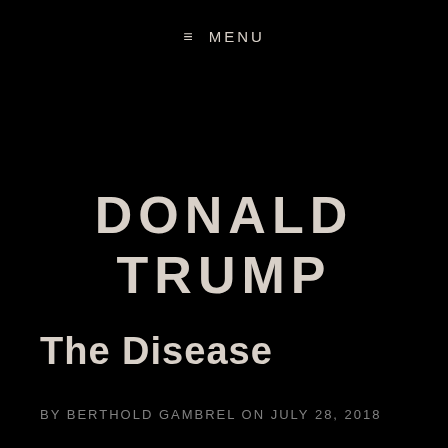≡ MENU
DONALD TRUMP
The Disease
BY BERTHOLD GAMBREL ON JULY 28, 2018